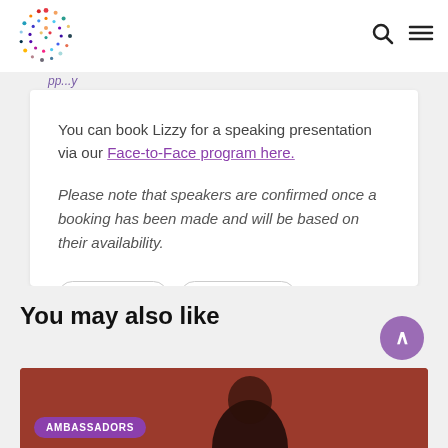[Logo: colorful dots circle] [Search icon] [Menu icon]
You can book Lizzy for a speaking presentation via our Face-to-Face program here.
Please note that speakers are confirmed once a booking has been made and will be based on their availability.
ambassador
refugee week
speaker
You may also like
[Figure (photo): Partial photo of a person with dark hair against a dark red/brown background, with a purple 'AMBASSADORS' badge overlay]